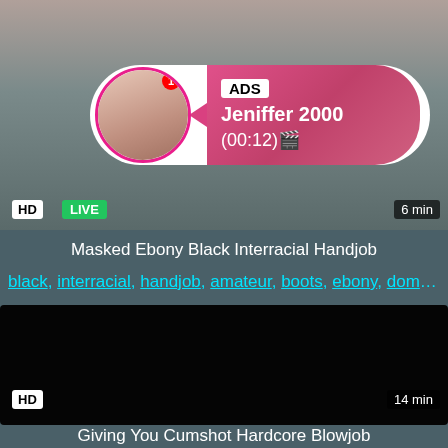[Figure (screenshot): Video thumbnail with HD and LIVE badges, ad overlay showing Jeniffer 2000 with (00:12) timer, 6 min duration badge]
Masked Ebony Black Interracial Handjob
black, interracial, handjob, amateur, boots, ebony, domin...
[Figure (screenshot): Dark/black video thumbnail with HD badge and 14 min duration]
Giving You Cumshot Hardcore Blowjob